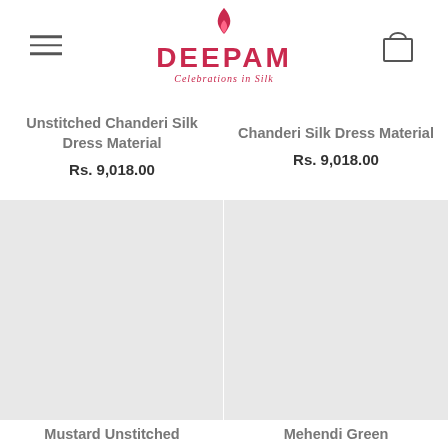DEEPAM — Celebrations in Silk
Unstitched Chanderi Silk Dress Material
Rs. 9,018.00
Chanderi Silk Dress Material
Rs. 9,018.00
[Figure (photo): Product image placeholder — light grey background for Mustard Unstitched product]
[Figure (photo): Product image placeholder — light grey background for Mehendi Green product]
Mustard Unstitched
Mehendi Green